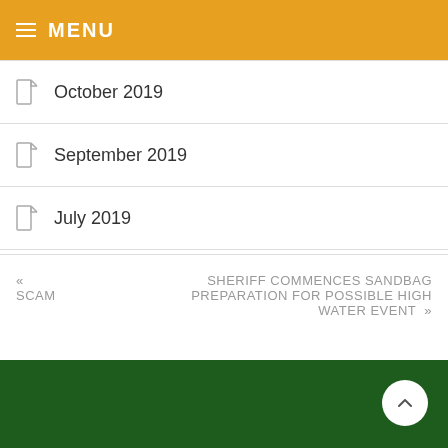≡ MENU
October 2019
September 2019
July 2019
« SCAM   SHERIFF COMMENCES SANDBAG PREPARATION FOR POSSIBLE HIGH WATER EVENT »